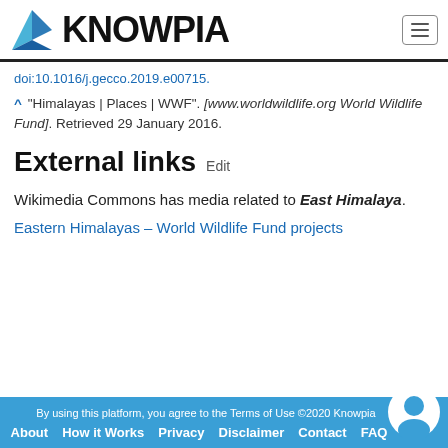KNOWPIA
doi:10.1016/j.gecco.2019.e00715.
^ "Himalayas | Places | WWF". [www.worldwildlife.org World Wildlife Fund]. Retrieved 29 January 2016.
External links Edit
Wikimedia Commons has media related to East Himalaya.
Eastern Himalayas – World Wildlife Fund projects
By using this platform, you agree to the Terms of Use ©2020 Knowpia    About    How it Works    Privacy    Disclaimer    Contact    FAQ